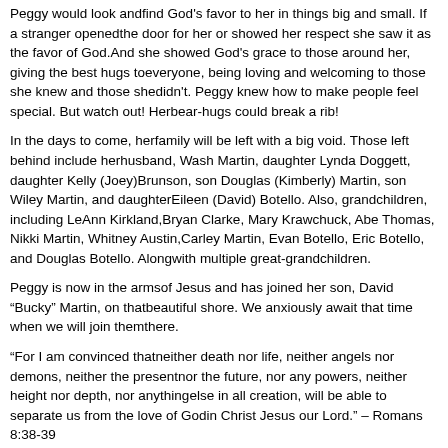Peggy would look andfind God's favor to her in things big and small. If a stranger openedthe door for her or showed her respect she saw it as the favor of God.And she showed God's grace to those around her, giving the best hugs toeveryone, being loving and welcoming to those she knew and those shedidn't. Peggy knew how to make people feel special. But watch out! Herbear-hugs could break a rib!
In the days to come, herfamily will be left with a big void. Those left behind include herhusband, Wash Martin, daughter Lynda Doggett, daughter Kelly (Joey)Brunson, son Douglas (Kimberly) Martin, son Wiley Martin, and daughterEileen (David) Botello. Also, grandchildren, including LeAnn Kirkland,Bryan Clarke, Mary Krawchuck, Abe Thomas, Nikki Martin, Whitney Austin,Carley Martin, Evan Botello, Eric Botello, and Douglas Botello. Alongwith multiple great-grandchildren.
Peggy is now in the armsof Jesus and has joined her son, David “Bucky” Martin, on thatbeautiful shore. We anxiously await that time when we will join themthere.
“For I am convinced thatneither death nor life, neither angels nor demons, neither the presentnor the future, nor any powers, neither height nor depth, nor anythingelse in all creation, will be able to separate us from the love of Godin Christ Jesus our Lord.” – Romans 8:38-39